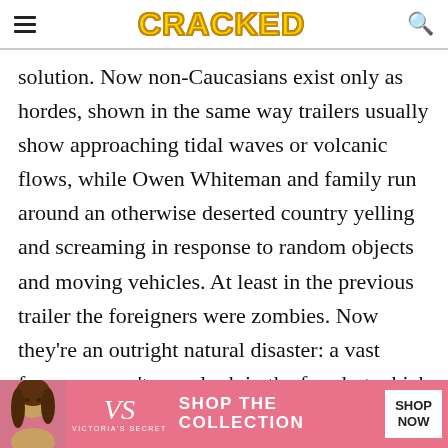CRACKED
solution. Now non-Caucasians exist only as hordes, shown in the same way trailers usually show approaching tidal waves or volcanic flows, while Owen Whiteman and family run around an otherwise deserted country yelling and screaming in response to random objects and moving vehicles. At least in the previous trailer the foreigners were zombies. Now they're an outright natural disaster: a vast force you can't even look in the face but which causes immediate pain and must be escaped.
[Figure (infographic): Victoria's Secret advertisement banner with model photo, VS logo, 'SHOP THE COLLECTION' text, and 'SHOP NOW' button on pink background]